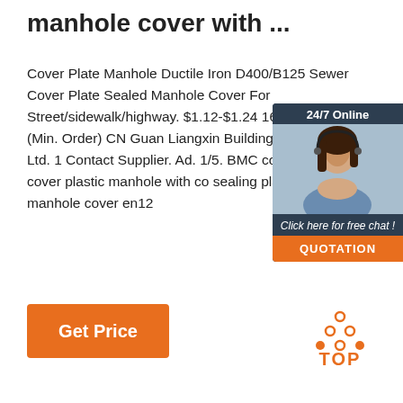manhole cover with ...
Cover Plate Manhole Ductile Iron D400/B125 Sewer Cover Plate Sealed Manhole Cover For Street/sidewalk/highway. $1.12-$1.24 16.0 Kilograms (Min. Order) CN Guan Liangxin Building Materials Co., Ltd. 1 Contact Supplier. Ad. 1/5. BMC compo manhole cover plastic manhole with co sealing plate smc manhole cover en12
[Figure (photo): Customer service chat widget with photo of woman wearing headset, dark background, showing '24/7 Online', 'Click here for free chat!', and 'QUOTATION' button]
[Figure (other): Orange 'Get Price' button]
[Figure (other): Orange 'TOP' button with dotted triangle icon]